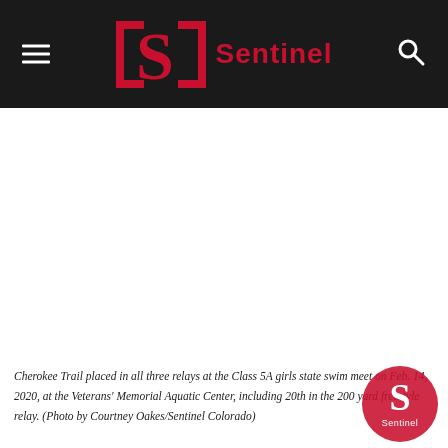Sentinel
[Figure (photo): Large white/blank image area — photo placeholder for Cherokee Trail swim meet at Veterans' Memorial Aquatic Center]
Cherokee Trail placed in all three relays at the Class 5A girls state swim meet on Feb. 14, 2020, at the Veterans' Memorial Aquatic Center, including 20th in the 200 yard freestyle relay. (Photo by Courtney Oakes/Sentinel Colorado)